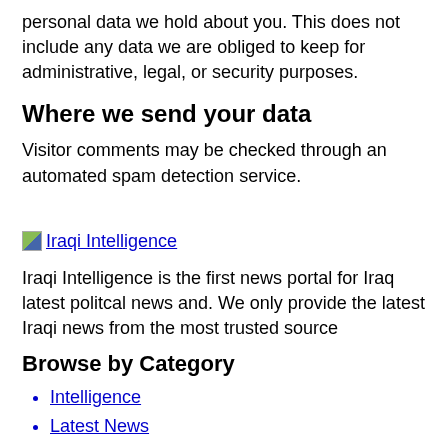personal data we hold about you. This does not include any data we are obliged to keep for administrative, legal, or security purposes.
Where we send your data
Visitor comments may be checked through an automated spam detection service.
[Figure (logo): Iraqi Intelligence logo image placeholder with link]
Iraqi Intelligence is the first news portal for Iraq latest politcal news and. We only provide the latest Iraqi news from the most trusted source
Browse by Category
Intelligence
Latest News
Military
Politics